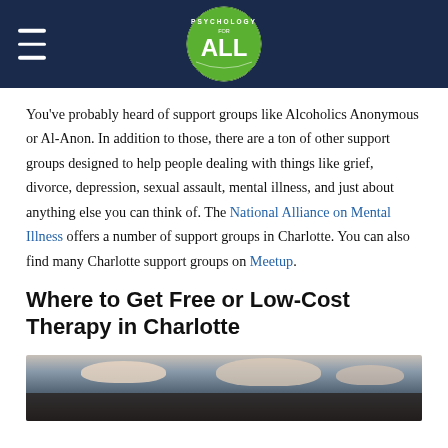[Figure (logo): Psychology For ALL logo — dark navy header bar with hamburger menu on left and a green circle logo in center reading PSYCHOLOGY FOR ALL]
You've probably heard of support groups like Alcoholics Anonymous or Al-Anon. In addition to those, there are a ton of other support groups designed to help people dealing with things like grief, divorce, depression, sexual assault, mental illness, and just about anything else you can think of. The National Alliance on Mental Illness offers a number of support groups in Charlotte. You can also find many Charlotte support groups on Meetup.
Where to Get Free or Low-Cost Therapy in Charlotte
[Figure (photo): Photograph of a dramatic sky with clouds at dusk/sunset, dark silhouetted landscape at bottom]